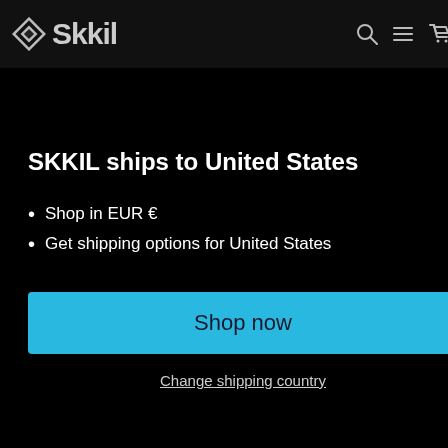Skkil (logo + nav icons)
SKKIL ships to United States
Shop in EUR €
Get shipping options for United States
Shop now
Change shipping country